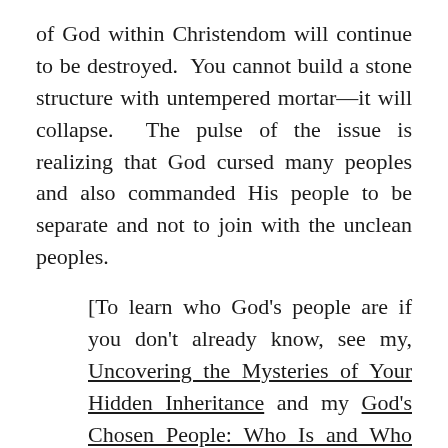of God within Christendom will continue to be destroyed. You cannot build a stone structure with untempered mortar—it will collapse. The pulse of the issue is realizing that God cursed many peoples and also commanded His people to be separate and not to join with the unclean peoples.
[To learn who God's people are if you don't already know, see my, Uncovering the Mysteries of Your Hidden Inheritance and my God's Chosen People: Who Is and Who Isn't...?]
The God of the NT is the very same unchanging God of the OT and until Christians realize that He has not changed and neither has His Standard of Morality, they will be confused into doing the very opposite of what He commanded, while thinking that He is so